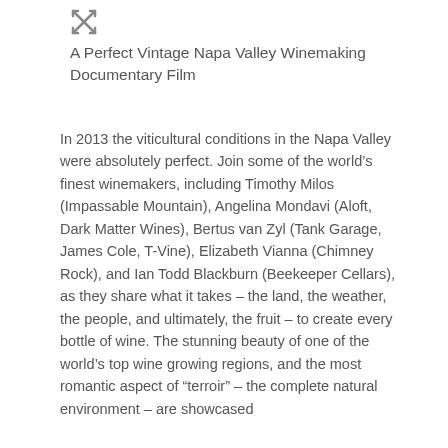[Figure (other): Expand/fullscreen icon with crossing arrows]
A Perfect Vintage Napa Valley Winemaking Documentary Film
In 2013 the viticultural conditions in the Napa Valley were absolutely perfect. Join some of the world’s finest winemakers, including Timothy Milos (Impassable Mountain), Angelina Mondavi (Aloft, Dark Matter Wines), Bertus van Zyl (Tank Garage, James Cole, T-Vine), Elizabeth Vianna (Chimney Rock), and Ian Todd Blackburn (Beekeeper Cellars), as they share what it takes – the land, the weather, the people, and ultimately, the fruit – to create every bottle of wine. The stunning beauty of one of the world’s top wine growing regions, and the most romantic aspect of "terroir" – the complete natural environment – are showcased